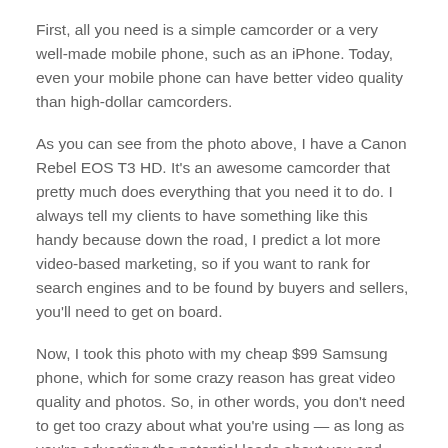First, all you need is a simple camcorder or a very well-made mobile phone, such as an iPhone. Today, even your mobile phone can have better video quality than high-dollar camcorders.
As you can see from the photo above, I have a Canon Rebel EOS T3 HD. It's an awesome camcorder that pretty much does everything that you need it to do. I always tell my clients to have something like this handy because down the road, I predict a lot more video-based marketing, so if you want to rank for search engines and to be found by buyers and sellers, you'll need to get on board.
Now, I took this photo with my cheap $99 Samsung phone, which for some crazy reason has great video quality and photos. So, in other words, you don't need to get too crazy about what you're using — as long as you're educating the potential leads about you and your business.